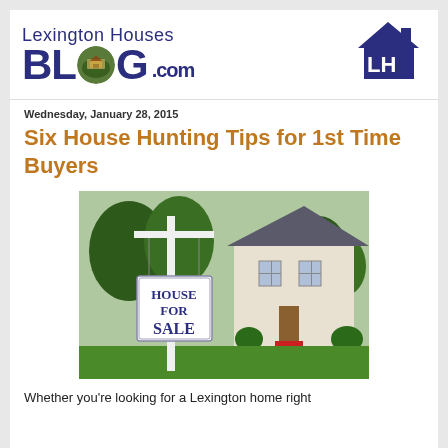[Figure (logo): Lexington Houses Blog.com logo with house icon and LH monogram]
Wednesday, January 28, 2015
Six House Hunting Tips for 1st Time Buyers
[Figure (photo): A House For Sale sign in front of a residential home with green lawn and trees]
Whether you're looking for a Lexington home right